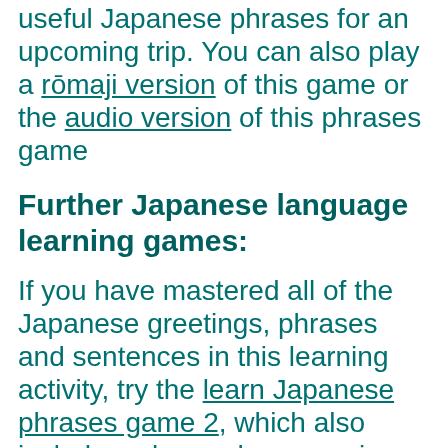useful Japanese phrases for an upcoming trip. You can also play a rōmaji version of this game or the audio version of this phrases game
Further Japanese language learning games:
If you have mastered all of the Japanese greetings, phrases and sentences in this learning activity, try the learn Japanese phrases game 2, which also includes a learn phrases using hiragana option. A fun next learning challenge could be the learn Japanese colors game, whcih gives kanji and romaji playing options. The